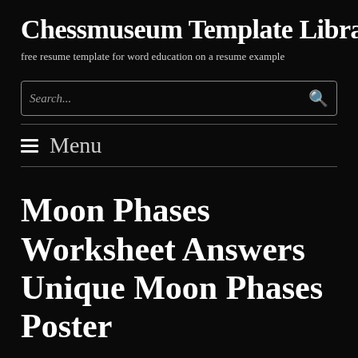Chessmuseum Template Libra…
free resume template for word education on a resume example
Search...
≡ Menu
Moon Phases Worksheet Answers Unique Moon Phases Poster
Home → 50 Moon Phases Worksheet Answers → Moon Phases Worksheet Answers Unique Moon Phases Poster